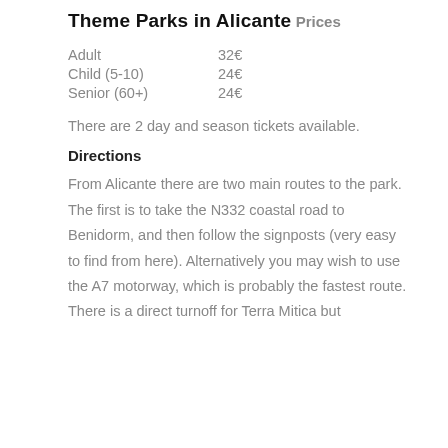Theme Parks in Alicante
Prices
Adult    32€
Child (5-10)    24€
Senior (60+)    24€
There are 2 day and season tickets available.
Directions
From Alicante there are two main routes to the park. The first is to take the N332 coastal road to Benidorm, and then follow the signposts (very easy to find from here). Alternatively you may wish to use the A7 motorway, which is probably the fastest route. There is a direct turnoff for Terra Mitica but